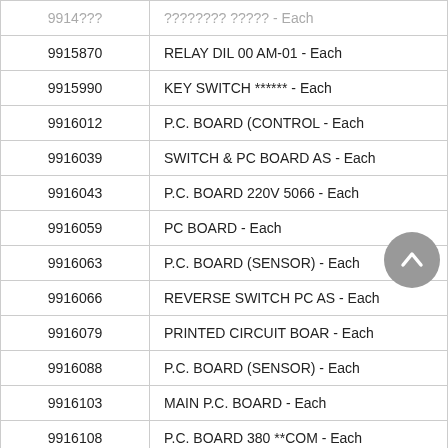| Part Number | Description |
| --- | --- |
| 9915870 | RELAY DIL 00 AM-01 - Each |
| 9915990 | KEY SWITCH ****** - Each |
| 9916012 | P.C. BOARD (CONTROL - Each |
| 9916039 | SWITCH & PC BOARD AS - Each |
| 9916043 | P.C. BOARD 220V 5066 - Each |
| 9916059 | PC BOARD - Each |
| 9916063 | P.C. BOARD (SENSOR) - Each |
| 9916066 | REVERSE SWITCH PC AS - Each |
| 9916079 | PRINTED CIRCUIT BOAR - Each |
| 9916088 | P.C. BOARD (SENSOR) - Each |
| 9916103 | MAIN P.C. BOARD - Each |
| 9916108 | P.C. BOARD 380 **COM - Each |
| 9916110 | MOUNTING TRACK - Each |